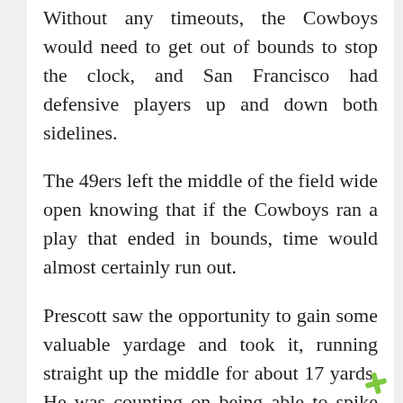Without any timeouts, the Cowboys would need to get out of bounds to stop the clock, and San Francisco had defensive players up and down both sidelines.
The 49ers left the middle of the field wide open knowing that if the Cowboys ran a play that ended in bounds, time would almost certainly run out.
Prescott saw the opportunity to gain some valuable yardage and took it, running straight up the middle for about 17 yards. He was counting on being able to spike the ball and stop the clock with enough time for one throw to the end zone.
However, the umpire has to touch the football